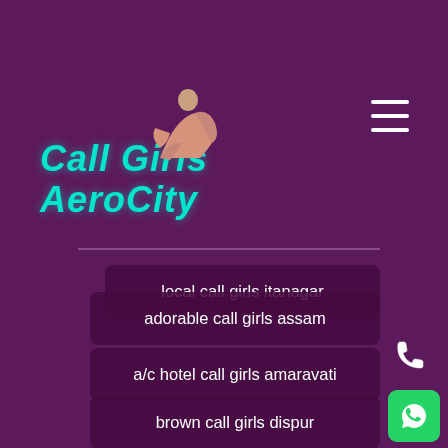[Figure (logo): Call Girls AeroCity logo with teal italic text and silhouette figure]
local call girls itanagar
a/c hotel call girls amaravati
adorable call girls assam
brown call girls dispur